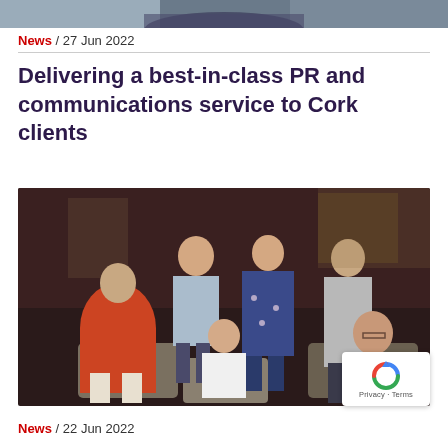[Figure (photo): Top portion of a photo showing a person, cropped at the bottom of the banner area]
News / 27 Jun 2022
Delivering a best-in-class PR and communications service to Cork clients
[Figure (photo): Group photo of six professionals (three men and three women) posed in a lounge/office setting with dark wood panelling. One man in red traditional dress seated left, one woman in white t-shirt seated centre, one woman in dark blazer seated right. Standing: man in light blue shirt, woman in floral dress, woman in grey top.]
News / 22 Jun 2022